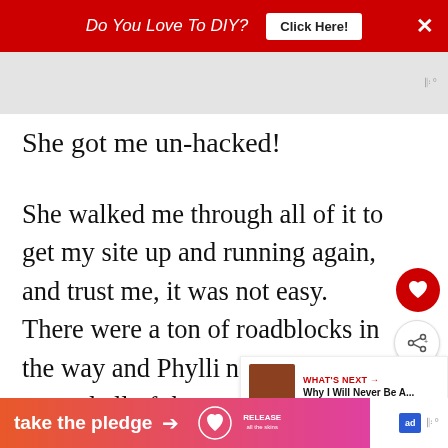Do You Love To DIY? Click Here! ×
[Figure (other): Gray advertisement placeholder banner with small audio/media icon on right]
She got me un-hacked!
She walked me through all of it to get my site up and running again, and trust me, it was not easy. There were a ton of roadblocks in the way and Phyll... navigated around all of them with grace
[Figure (infographic): WHAT'S NEXT: Why I Will Never Be A... sidebar widget with thumbnail image]
take the pledge → RELEASE ad